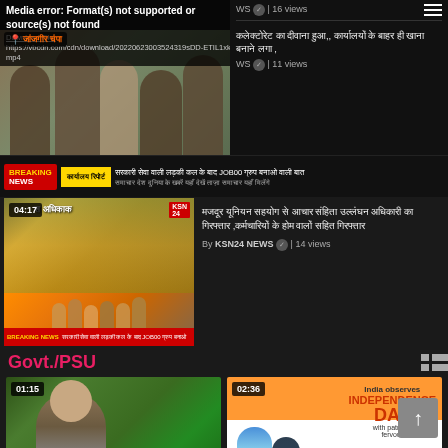[Figure (screenshot): Video player showing media error: Format(s) not supported or source(s) not found, with download file URL shown. Location badge showing जांजगीर चंपा. People photo below. Hindi text title on right. Channel meta showing 16 views and 11 views.]
Media error: Format(s) not supported or source(s) not found
Download File: https://vbcdn.com/cdn/download/20220623003524319sDD-ETIL1xk.mp4
जांजगीर चंपा
WS | 16 views
कलेक्टोरेट का दीवाना हुआ,, कार्यालयों के बाहर ही खाना बनाने लगा ,
WS | 11 views
[Figure (screenshot): News ticker strip with red logo and Hindi text scrolling]
[Figure (screenshot): KSN24 NEWS video thumbnail with 04:17 duration showing crowd of people, Hindi title about अधिकारियों के सामने आचार संहिता का उल्लंघन कर्मचारी,कर्मचारियों के होम वालों सहित गिरफ्तार]
मजदूर यूनियन सहयोग से आचार संहिता उल्लंघन अधिकारी का गिरफ्तार ,कर्मचारियों के होम वालों सहित गिरफ्तार
By KSN24 NEWS | 14 views
Govt./PSU
[Figure (screenshot): GAIL bringing INDIA together video thumbnail with 01:15 duration showing a man in suit outdoors]
GAIL bringing INDIA together
[Figure (screenshot): India observes Independence Day video thumbnail with 02:36 duration showing Indian flag and Modi walking with text 'India observes INDEPENDENCE DAY with patriotic fervour']
India observes Independence